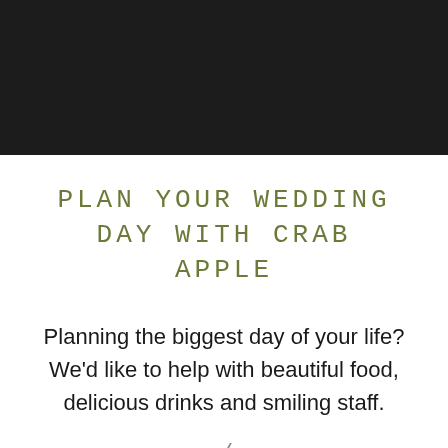[Figure (other): Dark black header band at the top of the page]
PLAN YOUR WEDDING DAY WITH CRAB APPLE
Planning the biggest day of your life? We'd like to help with beautiful food, delicious drinks and smiling staff.